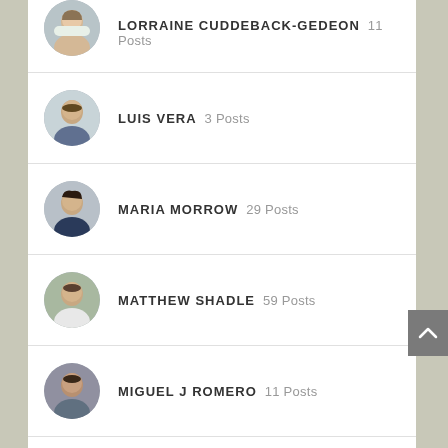LORRAINE CUDDEBACK-GEDEON 11 Posts
LUIS VERA 3 Posts
MARIA MORROW 29 Posts
MATTHEW SHADLE 59 Posts
MIGUEL J ROMERO 11 Posts
NICHOLE FLORES 6 Posts